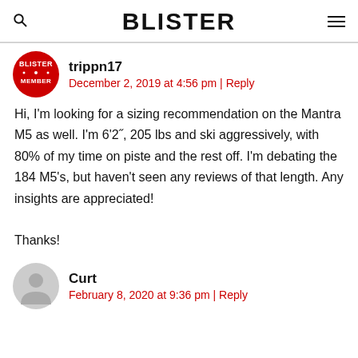BLISTER
trippn17
December 2, 2019 at 4:56 pm | Reply
Hi, I'm looking for a sizing recommendation on the Mantra M5 as well. I'm 6'2", 205 lbs and ski aggressively, with 80% of my time on piste and the rest off. I'm debating the 184 M5's, but haven't seen any reviews of that length. Any insights are appreciated!

Thanks!
Curt
February 8, 2020 at 9:36 pm | Reply